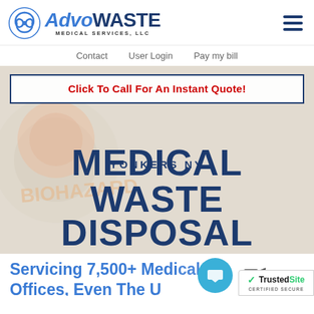[Figure (logo): AdvoWaste Medical Services LLC logo with blue swirl icon]
Contact   User Login   Pay my bill
Click To Call For An Instant Quote!
YONKERS NY
MEDICAL WASTE DISPOSAL
Servicing 7,500+ Medical Offices, Even The U...
[Figure (logo): TrustedSite Certified Secure badge]